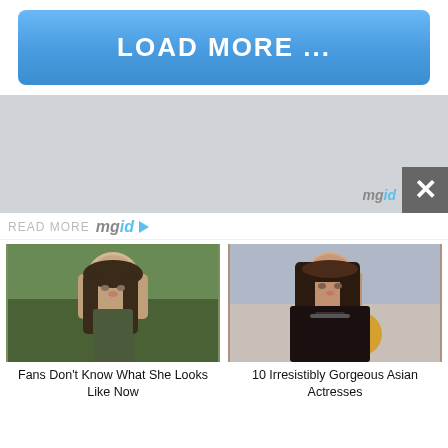LOAD MORE ...
[Figure (other): Gray advertisement banner with mgid watermark and close button]
READ MORE mgid ▷
[Figure (photo): Young girl with long brown hair outdoors]
Fans Don't Know What She Looks Like Now
[Figure (photo): Attractive young woman with long brown hair indoors]
10 Irresistibly Gorgeous Asian Actresses